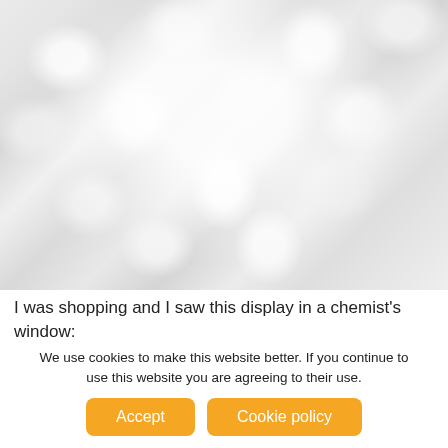[Figure (photo): Close-up photograph of white sugar cubes or marshmallows piled together against a bright white background]
I was shopping and I saw this display in a chemist's window:
We use cookies to make this website better. If you continue to use this website you are agreeing to their use.
Accept
Cookie policy